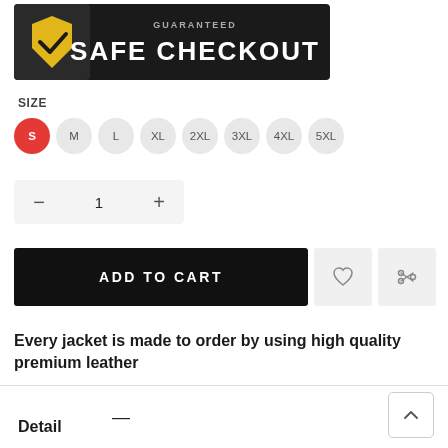[Figure (screenshot): Safe checkout banner with shield/checkmark icon and bold white text 'SAFE CHECKOUT' on black background]
SIZE
S (selected/active), M, L, XL, 2XL, 3XL, 4XL, 5XL
— 1 +
ADD TO CART
Every jacket is made to order by using high quality premium leather
Detail